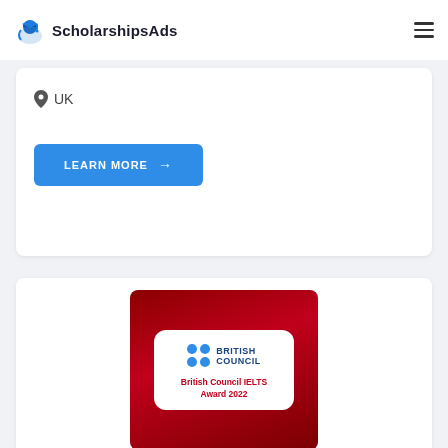ScholarshipsAds
UK
LEARN MORE →
[Figure (photo): British Council IELTS Award 2022 certificate/plaque displayed on a dark red background, showing the British Council logo (blue circles grid) and the text 'British Council IELTS Award 2022' in red.]